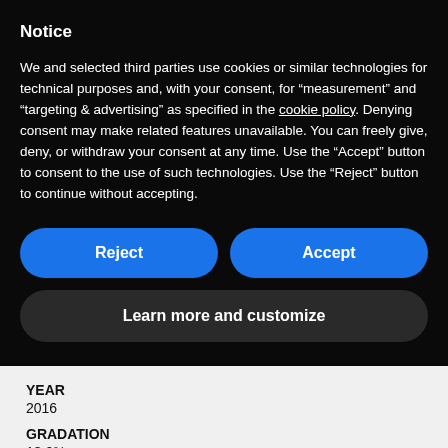Notice
We and selected third parties use cookies or similar technologies for technical purposes and, with your consent, for “measurement” and “targeting & advertising” as specified in the cookie policy. Denying consent may make related features unavailable. You can freely give, deny, or withdraw your consent at any time. Use the “Accept” button to consent to the use of such technologies. Use the “Reject” button to continue without accepting.
Reject
Accept
Learn more and customize
YEAR
2016
GRADATION
13,0%
BOTTLE